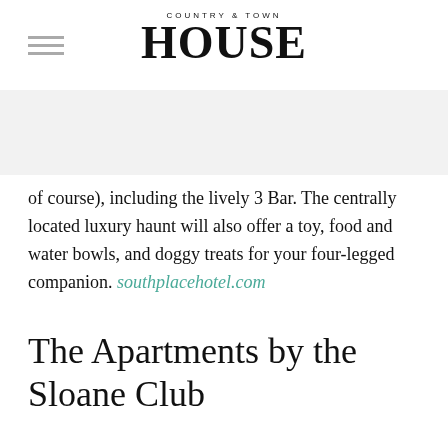COUNTRY & TOWN HOUSE
of course), including the lively 3 Bar. The centrally located luxury haunt will also offer a toy, food and water bowls, and doggy treats for your four-legged companion. southplacehotel.com
The Apartments by the Sloane Club